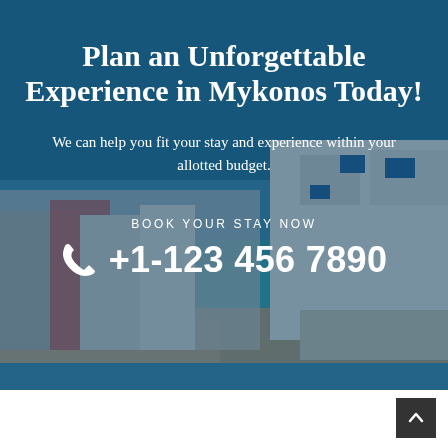[Figure (photo): Background photo of Mykonos waterfront with white buildings, blue accents, turquoise sea, and rocky shore, overlaid with a semi-transparent dark teal/blue overlay.]
Plan an Unforgettable Experience in Mykonos Today!
We can help you fit your stay and experience within your allotted budget.
BOOK YOUR STAY NOW
+1-123 456 7890